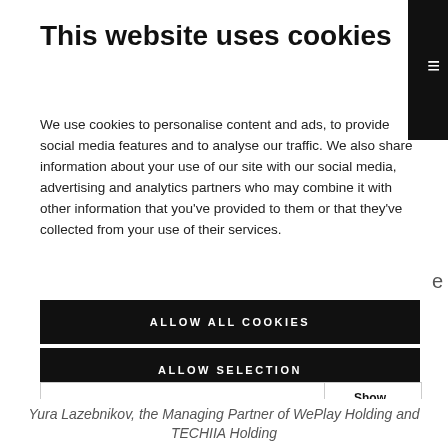This website uses cookies
We use cookies to personalise content and ads, to provide social media features and to analyse our traffic. We also share information about your use of our site with our social media, advertising and analytics partners who may combine it with other information that you’ve provided to them or that they’ve collected from your use of their services.
ALLOW ALL COOKIES
ALLOW SELECTION
USE NECESSARY COOKIES ONLY
| ✓ Necessary | ✓ Preferences | ✓ Statistics | Show details ∨ |
| ✓ Marketing |  |  |  |
Yura Lazebnikov, the Managing Partner of WePlay Holding and TECHIIA Holding